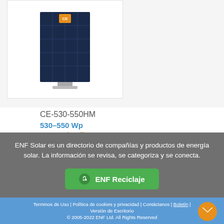[Figure (photo): Solar panel product image for CE-530-550HM]
CE-530-550HM
530–550 Wp
Monocristalino
ENF Solar es un directorio de compañías y productos de energía solar. La información se revisa, se categoriza y se conecta.
ENF Reciclaje
Terminos de Uso | Política de cookies y privacidad | Contáctanos | Boletín | Versión de Escritorio © 2005-2022 ENF Ltd. All Rights Reserved